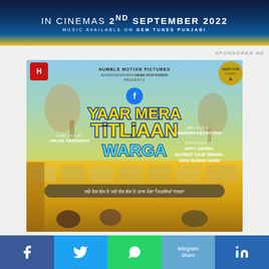[Figure (illustration): Movie promotional banner: IN CINEMAS 2ND SEPTEMBER 2022 / MUSIC AVAILABLE ON GEM TUNES PUNJABI]
SPONSORED AD
[Figure (photo): Movie poster for 'Yaar Mera Titliaan Warga' - Humble Motion Pictures in association with Omjee Star Studios presents. Directed by Vikas Vashisht. Written by Naresh Kathooria. Produced by Gippy Grewal, Ravneet Kaur Grewal, Ashu Munish Sahni. Yellow bus in foreground with Punjabi tagline text.]
[Figure (other): Social sharing bar with Facebook, Twitter, WhatsApp, Telegram, LinkedIn buttons]